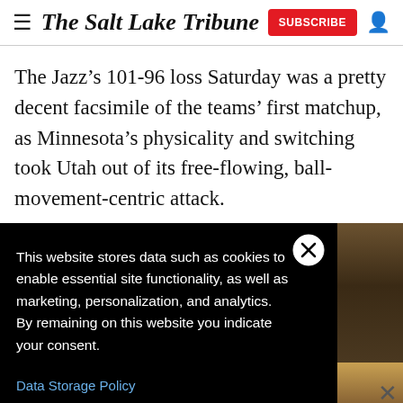The Salt Lake Tribune
The Jazz’s 101-96 loss Saturday was a pretty decent facsimile of the teams’ first matchup, as Minnesota’s physicality and switching took Utah out of its free-flowing, ball-movement-centric attack.
This website stores data such as cookies to enable essential site functionality, as well as marketing, personalization, and analytics. By remaining on this website you indicate your consent.
Data Storage Policy